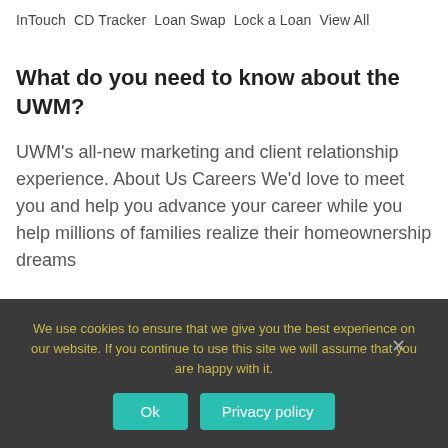InTouch CD Tracker Loan Swap Lock a Loan View All
What do you need to know about the UWM?
UWM's all-new marketing and client relationship experience. About Us Careers We'd love to meet you and help you advance your career while you help millions of families realize their homeownership dreams
How to contact the UWM loan
We use cookies to ensure that we give you the best experience on our website. If you continue to use this site we will assume that you are happy with it.
Ok
Privacy policy